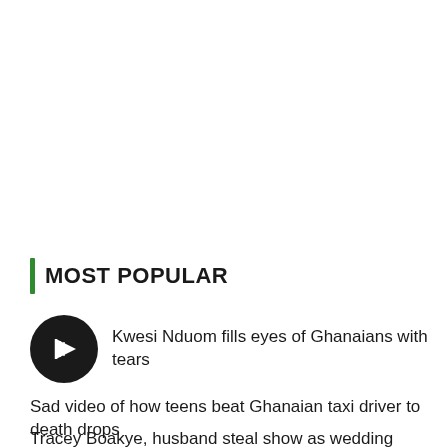MOST POPULAR
Kwesi Nduom fills eyes of Ghanaians with tears
Sad video of how teens beat Ghanaian taxi driver to death drops
Tracey Boakye, husband steal show as wedding guests